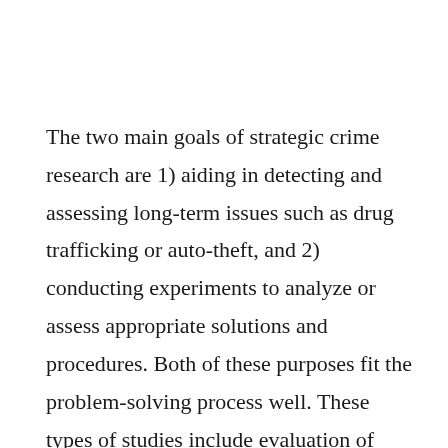The two main goals of strategic crime research are 1) aiding in detecting and assessing long-term issues such as drug trafficking or auto-theft, and 2) conducting experiments to analyze or assess appropriate solutions and procedures. Both of these purposes fit the problem-solving process well. These types of studies include evaluation of crime prevention programs, in-depth examination of a crime issue, and a survey of citizens' perceptions of crime and police.